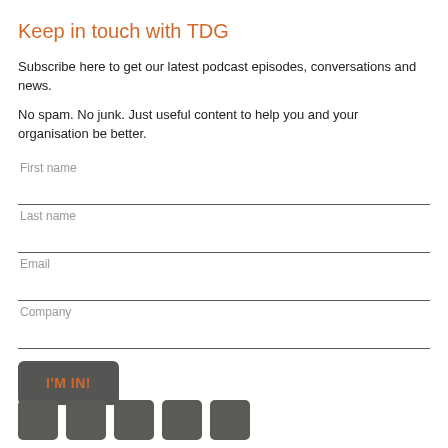Keep in touch with TDG
Subscribe here to get our latest podcast episodes, conversations and news.
No spam. No junk. Just useful content to help you and your organisation be better.
[Figure (screenshot): Newsletter subscription form with fields: First name, Last name, Email, Company, and an 'I'M IN!' button]
[Figure (infographic): Row of five dark square social media icon buttons along the bottom of the page]